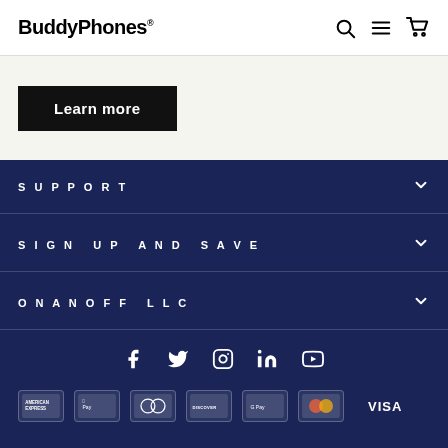BuddyPhones®
Learn more
SUPPORT
SIGN UP AND SAVE
ONANOFF LLC
[Figure (infographic): Social media icons: Facebook, Twitter, Instagram, LinkedIn, YouTube]
[Figure (infographic): Payment method logos: American Express, Apple Pay, Diners Club, Discover, Google Pay, Mastercard, Visa]